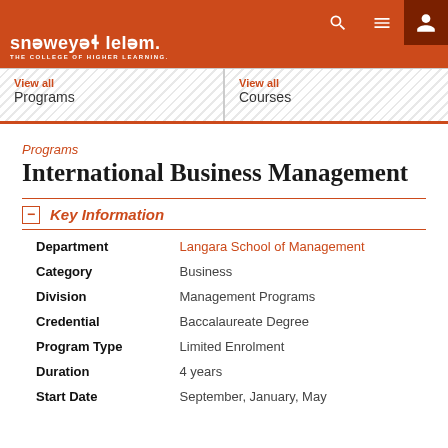snəweyəɬ leləm. THE COLLEGE OF HIGHER LEARNING.
View all Programs
View all Courses
Programs
International Business Management
Key Information
| Field | Value |
| --- | --- |
| Department | Langara School of Management |
| Category | Business |
| Division | Management Programs |
| Credential | Baccalaureate Degree |
| Program Type | Limited Enrolment |
| Duration | 4 years |
| Start Date | September, January, May |